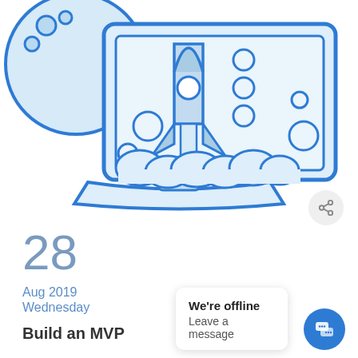[Figure (illustration): Blue line-art illustration of a laptop with a rocket launching out of the screen, surrounded by bubbles and foam/clouds, on a white background. A large bubble also appears top-left outside the laptop.]
28
Aug 2019
Wednesday
Build an MVP
We're offline
Leave a message